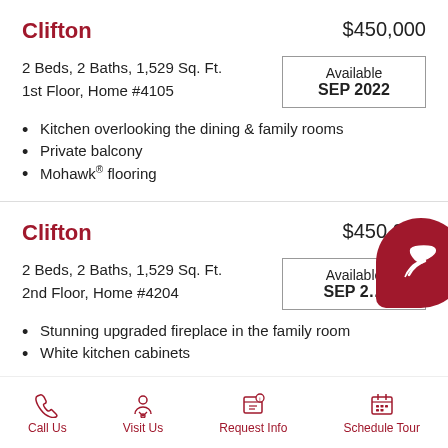Clifton
$450,000
2 Beds, 2 Baths, 1,529 Sq. Ft.
1st Floor, Home #4105
Available SEP 2022
Kitchen overlooking the dining & family rooms
Private balcony
Mohawk® flooring
Clifton
$450,240
2 Beds, 2 Baths, 1,529 Sq. Ft.
2nd Floor, Home #4204
Available SEP 2…
Stunning upgraded fireplace in the family room
White kitchen cabinets
Call Us  Visit Us  Request Info  Schedule Tour